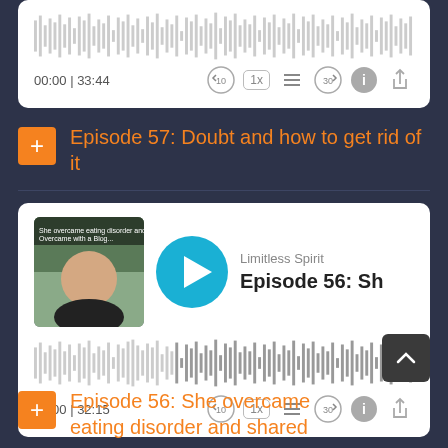[Figure (screenshot): Partial audio player card at top showing waveform and controls: 00:00 | 33:44]
Episode 57: Doubt and how to get rid of it
[Figure (screenshot): Full audio player card for Episode 56 with thumbnail, play button, waveform, and controls: 00:00 | 32:15]
Episode 56: She overcame eating disorder and shared